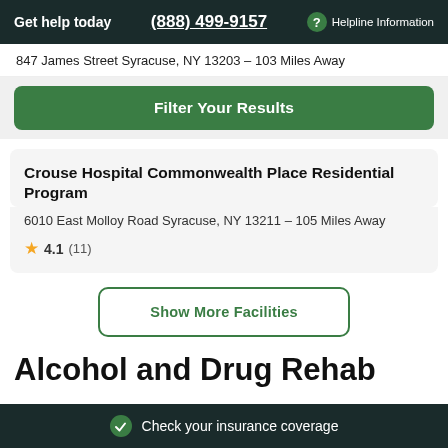Get help today | (888) 499-9157 | ? Helpline Information
847 James Street Syracuse, NY 13203 – 103 Miles Away
Filter Your Results
Crouse Hospital Commonwealth Place Residential Program
6010 East Molloy Road Syracuse, NY 13211 – 105 Miles Away
4.1 (11)
Show More Facilities
Alcohol and Drug Rehab
Check your insurance coverage